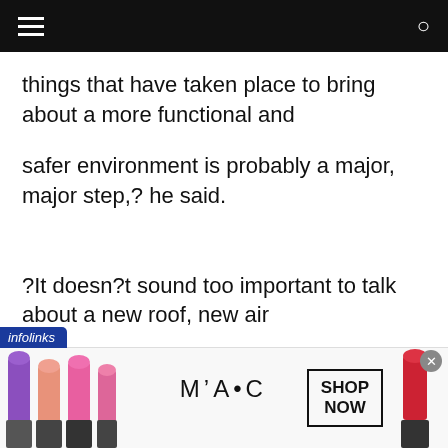things that have taken place to bring about a more functional and
safer environment is probably a major, major step,? he said.
?It doesn?t sound too important to talk about a new roof, new air
[Figure (screenshot): Advertisement banner for MAC cosmetics showing lipsticks, MAC logo, and SHOP NOW button with infolinks label and close button]